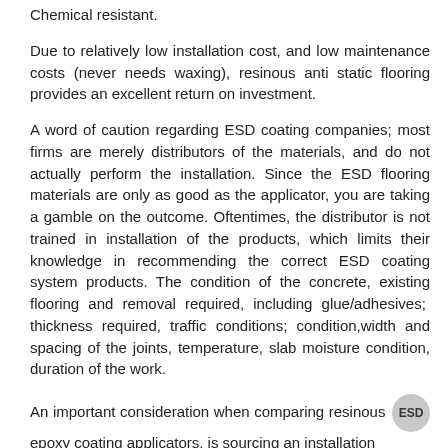Chemical resistant.
Due to relatively low installation cost, and low maintenance costs (never needs waxing), resinous anti static flooring provides an excellent return on investment.
A word of caution regarding ESD coating companies; most firms are merely distributors of the materials, and do not actually perform the installation. Since the ESD flooring materials are only as good as the applicator, you are taking a gamble on the outcome. Oftentimes, the distributor is not trained in installation of the products, which limits their knowledge in recommending the correct ESD coating system products. The condition of the concrete, existing flooring and removal required, including glue/adhesives; thickness required, traffic conditions; condition,width and spacing of the joints, temperature, slab moisture condition, duration of the work.
An important consideration when comparing resinous ESD epoxy coating applicators, is sourcing an installation contractor with at least 10 years of experience. For competitive...